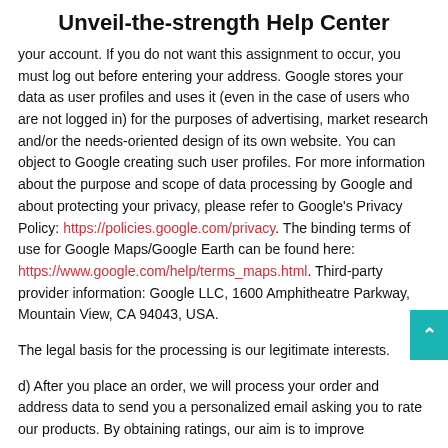Unveil-the-strength Help Center
your account. If you do not want this assignment to occur, you must log out before entering your address. Google stores your data as user profiles and uses it (even in the case of users who are not logged in) for the purposes of advertising, market research and/or the needs-oriented design of its own website. You can object to Google creating such user profiles. For more information about the purpose and scope of data processing by Google and about protecting your privacy, please refer to Google's Privacy Policy: https://policies.google.com/privacy. The binding terms of use for Google Maps/Google Earth can be found here: https://www.google.com/help/terms_maps.html. Third-party provider information: Google LLC, 1600 Amphitheatre Parkway, Mountain View, CA 94043, USA.
The legal basis for the processing is our legitimate interests.
d) After you place an order, we will process your order and address data to send you a personalized email asking you to rate our products. By obtaining ratings, our aim is to improve